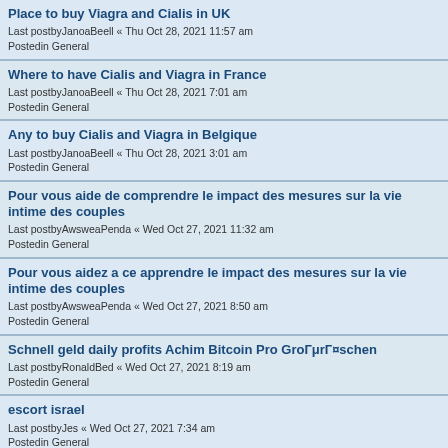Place to buy Viagra and Cialis in UK
Last postby JanoaBeell « Thu Oct 28, 2021 11:57 am
Posted in General
Where to have Cialis and Viagra in France
Last postby JanoaBeell « Thu Oct 28, 2021 7:01 am
Posted in General
Any to buy Cialis and Viagra in Belgique
Last postby JanoaBeell « Thu Oct 28, 2021 3:01 am
Posted in General
Pour vous aide de comprendre le impact des mesures sur la vie intime des couples
Last postby AwsweaPenda « Wed Oct 27, 2021 11:32 am
Posted in General
Pour vous aidez a ce apprendre le impact des mesures sur la vie intime des couples
Last postby AwsweaPenda « Wed Oct 27, 2021 8:50 am
Posted in General
Schnell geld daily profits Achim Bitcoin Pro GroГμrГ¤schen
Last postby RonaldBed « Wed Oct 27, 2021 8:19 am
Posted in General
escort israel
Last postby Jes « Wed Oct 27, 2021 7:34 am
Posted in General
Pour vous aider a comprendre le reflet des mesures sur la vie intime des gens
Last postby AwsweaPenda « Wed Oct 27, 2021 6:52 am
Posted in General